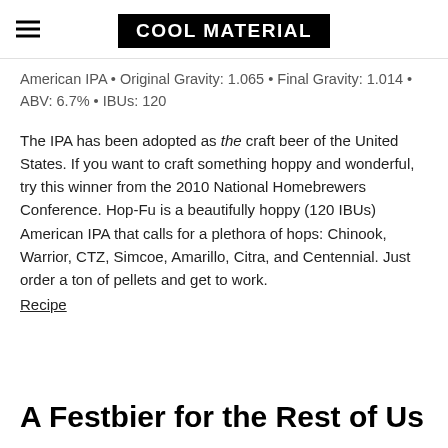COOL MATERIAL
American IPA • Original Gravity: 1.065 • Final Gravity: 1.014 • ABV: 6.7% • IBUs: 120
The IPA has been adopted as the craft beer of the United States. If you want to craft something hoppy and wonderful, try this winner from the 2010 National Homebrewers Conference. Hop-Fu is a beautifully hoppy (120 IBUs) American IPA that calls for a plethora of hops: Chinook, Warrior, CTZ, Simcoe, Amarillo, Citra, and Centennial. Just order a ton of pellets and get to work. Recipe
A Festbier for the Rest of Us